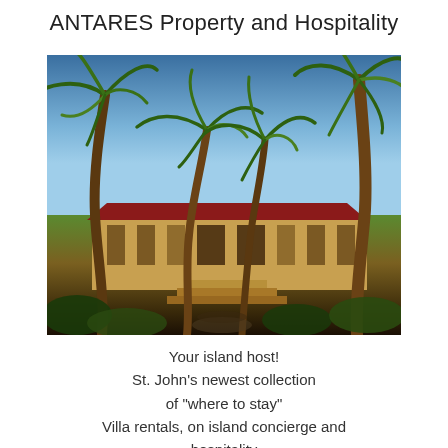ANTARES Property and Hospitality
[Figure (photo): Tropical villa with palm trees in the foreground, red roof visible, lush vegetation, blue sky, warm golden light — appears to be a Caribbean island setting (St. John, USVI).]
Your island host!
St. John's newest collection
of "where to stay"
Villa rentals, on island concierge and
hospitality